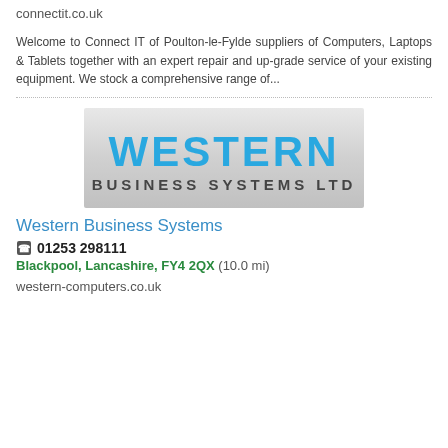connectit.co.uk
Welcome to Connect IT of Poulton-le-Fylde suppliers of Computers, Laptops & Tablets together with an expert repair and up-grade service of your existing equipment. We stock a comprehensive range of...
[Figure (logo): Western Business Systems Ltd logo — large blue text 'WESTERN' above smaller dark text 'BUSINESS SYSTEMS LTD' on a light grey gradient background]
Western Business Systems
01253 298111
Blackpool, Lancashire, FY4 2QX (10.0 mi)
western-computers.co.uk